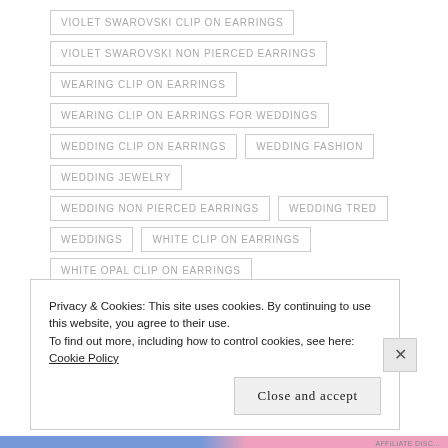VIOLET SWAROVSKI CLIP ON EARRINGS
VIOLET SWAROVSKI NON PIERCED EARRINGS
WEARING CLIP ON EARRINGS
WEARING CLIP ON EARRINGS FOR WEDDINGS
WEDDING CLIP ON EARRINGS
WEDDING FASHION
WEDDING JEWELRY
WEDDING NON PIERCED EARRINGS
WEDDING TRED
WEDDINGS
WHITE CLIP ON EARRINGS
WHITE OPAL CLIP ON EARRINGS
Privacy & Cookies: This site uses cookies. By continuing to use this website, you agree to their use. To find out more, including how to control cookies, see here: Cookie Policy
Close and accept